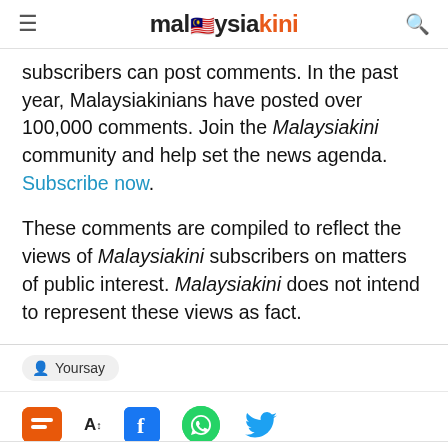malaysiakini
subscribers can post comments. In the past year, Malaysiakinians have posted over 100,000 comments. Join the Malaysiakini community and help set the news agenda. Subscribe now.
These comments are compiled to reflect the views of Malaysiakini subscribers on matters of public interest. Malaysiakini does not intend to represent these views as fact.
Yoursay